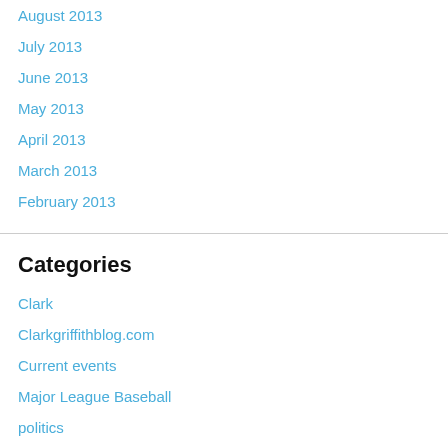August 2013
July 2013
June 2013
May 2013
April 2013
March 2013
February 2013
Categories
Clark
Clarkgriffithblog.com
Current events
Major League Baseball
politics
Sports
Meta